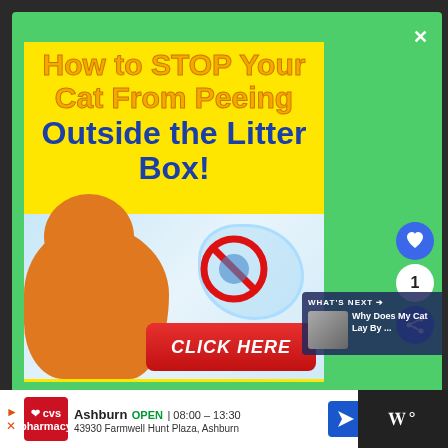[Figure (screenshot): Screenshot of a webpage showing a green popup overlay containing an ad banner titled 'How to STOP Your Cat From Peeing Outside the Litter Box!' with an orange cat image, a no-symbol icon, a red 'CLICK HERE' button, a 'What's Next' panel showing 'Why Does My Cat Lay By ...' and social buttons (heart, count 1, share). At the bottom is a CVS Pharmacy location ad for Ashburn showing OPEN 08:00-13:30 at 43930 Farmwell Hunt Plaza, Ashburn.]